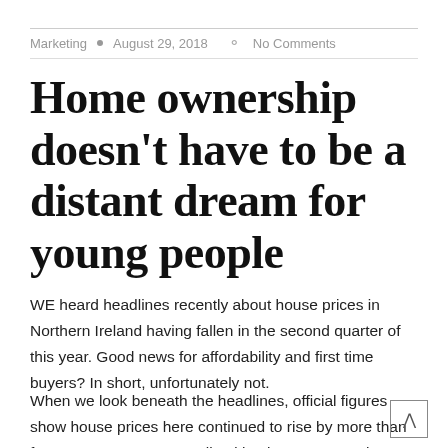Marketing • August 29, 2018 · No Comments
Home ownership doesn't have to be a distant dream for young people
WE heard headlines recently about house prices in Northern Ireland having fallen in the second quarter of this year. Good news for affordability and first time buyers? In short, unfortunately not.
When we look beneath the headlines, official figures show house prices here continued to rise by more than four percent on an annualised basis. In Q2, we also see that the kind of property first time buyers and those on lower incomes are…